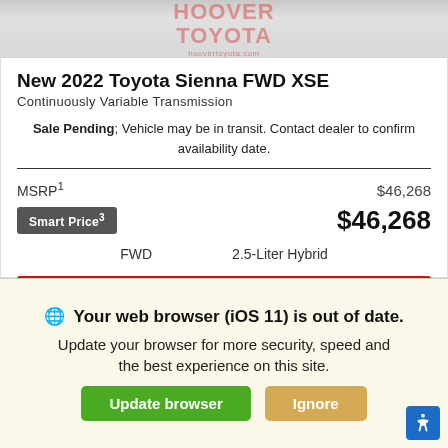[Figure (logo): Hoover Toyota dealership logo in red/pink watermark style text on gray banner header, with hoovertoyota.com subtitle]
New 2022 Toyota Sienna FWD XSE
Continuously Variable Transmission
Sale Pending; Vehicle may be in transit. Contact dealer to confirm availability date.
MSRP¹  $46,268
Smart Price³  $46,268
FWD   2.5-Liter Hybrid
Confirm Availability
Estimate Payments
Your web browser (iOS 11) is out of date. Update your browser for more security, speed and the best experience on this site.
Update browser
Ignore